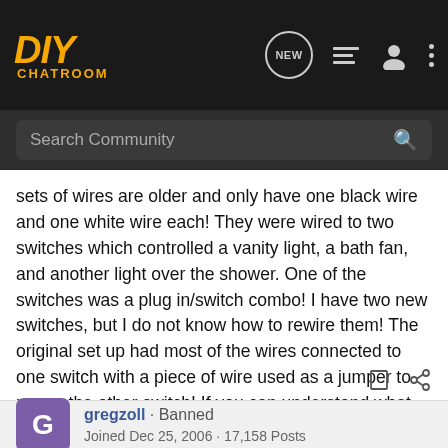DIY CHATROOM
Search Community
sets of wires are older and only have one black wire and one white wire each! They were wired to two switches which controlled a vanity light, a bath fan, and another light over the shower. One of the switches was a plug in/switch combo! I have two new switches, but I do not know how to rewire them! The original set up had most of the wires connected to one switch with a piece of wire used as a jumper to power the other switch! If you can understand what I'm saying, then you know my dilemma! Please help! How do I rewire all of this safely?
gregzoll · Banned
Joined Dec 25, 2006 · 17,158 Posts